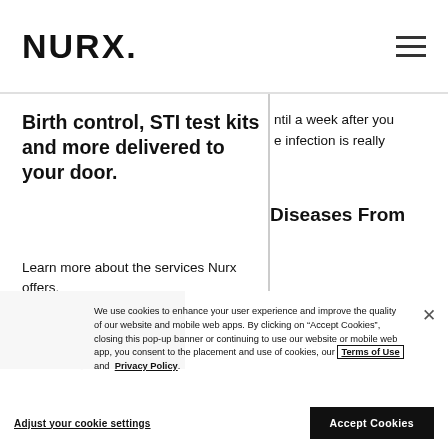NURX.
Birth control, STI test kits and more delivered to your door.
Learn more about the services Nurx offers.
ntil a week after you infection is really
Diseases From
We use cookies to enhance your user experience and improve the quality of our website and mobile web apps. By clicking on “Accept Cookies”, closing this pop-up banner or continuing to use our website or mobile web app, you consent to the placement and use of cookies, our Terms of Use and Privacy Policy.
No, thank you.
Influenza.
Adjust your cookie settings
Accept Cookies